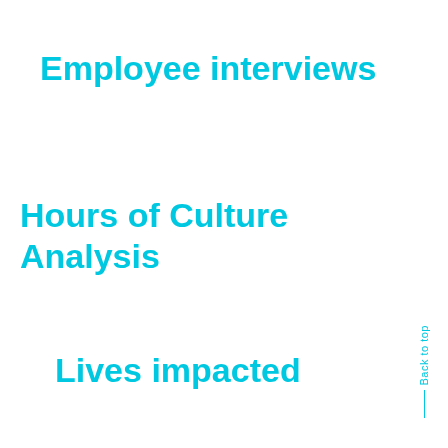Employee interviews
Hours of Culture Analysis
Lives impacted
Back to top